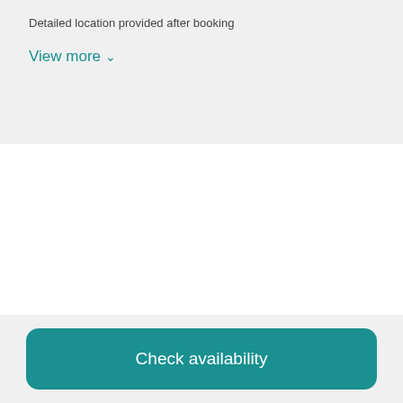Detailed location provided after booking
View more
Check availability